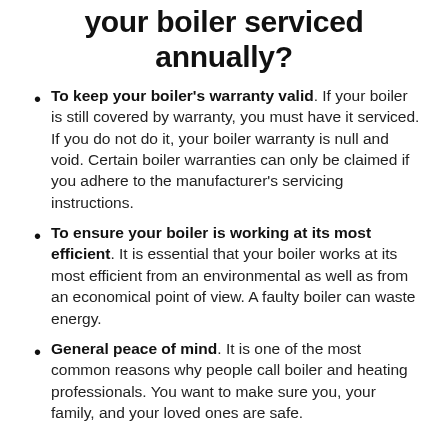Why is it important to get your boiler serviced annually?
To keep your boiler's warranty valid. If your boiler is still covered by warranty, you must have it serviced. If you do not do it, your boiler warranty is null and void. Certain boiler warranties can only be claimed if you adhere to the manufacturer's servicing instructions.
To ensure your boiler is working at its most efficient. It is essential that your boiler works at its most efficient from an environmental as well as from an economical point of view. A faulty boiler can waste energy.
General peace of mind. It is one of the most common reasons why people call boiler and heating professionals. You want to make sure you, your family, and your loved ones are safe.